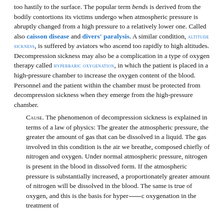too hastily to the surface. The popular term bends is derived from the bodily contortions its victims undergo when atmospheric pressure is abruptly changed from a high pressure to a relatively lower one. Called also caisson disease and divers' paralysis. A similar condition, ALTITUDE SICKNESS, is suffered by aviators who ascend too rapidly to high altitudes. Decompression sickness may also be a complication in a type of oxygen therapy called HYPERBARIC OXYGENATION, in which the patient is placed in a high-pressure chamber to increase the oxygen content of the blood. Personnel and the patient within the chamber must be protected from decompression sickness when they emerge from the high-pressure chamber.
Cause. The phenomenon of decompression sickness is explained in terms of a law of physics: The greater the atmospheric pressure, the greater the amount of gas that can be dissolved in a liquid. The gas involved in this condition is the air we breathe, composed chiefly of nitrogen and oxygen. Under normal atmospheric pressure, nitrogen is present in the blood in dissolved form. If the atmospheric pressure is substantially increased, a proportionately greater amount of nitrogen will be dissolved in the blood. The same is true of oxygen, and this is the basis for hyperbaric oxygenation in the treatment of